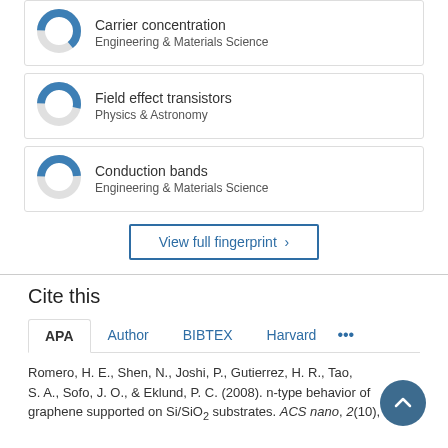[Figure (donut-chart): Donut chart for Carrier concentration, Engineering & Materials Science]
Carrier concentration
Engineering & Materials Science
[Figure (donut-chart): Donut chart for Field effect transistors, Physics & Astronomy]
Field effect transistors
Physics & Astronomy
[Figure (donut-chart): Donut chart for Conduction bands, Engineering & Materials Science]
Conduction bands
Engineering & Materials Science
View full fingerprint >
Cite this
APA  Author  BIBTEX  Harvard  ...
Romero, H. E., Shen, N., Joshi, P., Gutierrez, H. R., Tao, S. A., Sofo, J. O., & Eklund, P. C. (2008). n-type behavior of graphene supported on Si/SiO₂ substrates. ACS nano, 2(10),